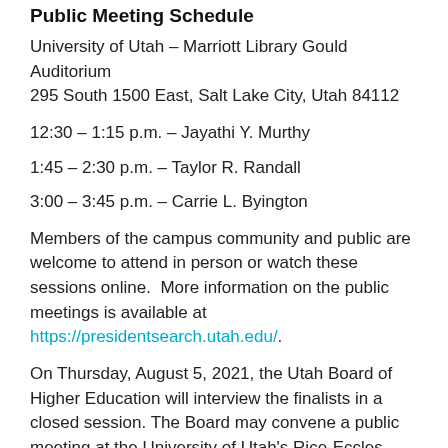Public Meeting Schedule
University of Utah – Marriott Library Gould Auditorium
295 South 1500 East, Salt Lake City, Utah 84112
12:30 – 1:15 p.m. – Jayathi Y. Murthy
1:45 – 2:30 p.m. – Taylor R. Randall
3:00 – 3:45 p.m. – Carrie L. Byington
Members of the campus community and public are welcome to attend in person or watch these sessions online.  More information on the public meetings is available at https://presidentsearch.utah.edu/.
On Thursday, August 5, 2021, the Utah Board of Higher Education will interview the finalists in a closed session. The Board may convene a public meeting at the University of Utah's Rice-Eccles Stadium (fourth floor) at 5 p.m. that day to select the president.